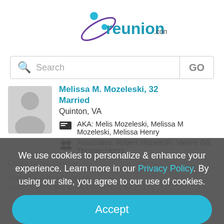[Figure (logo): reunion.com logo with teal text and purple/teal figure graphic]
Search GO
Melissa M. Mozeleski, 32 Married
Quinton, VA
AKA: Melis Mozeleski, Melissa M Mozeleski, Melissa Henry
Associates: Robert Mozeleski, Valerie Gill, Thomas Henry,
Donna Henry, Marjorie
We use cookies to personalize & enhance your experience. Learn more in our Privacy Policy. By using our site, you agree to our use of cookies.
Current & Past Addresses
Accept
Current: 9500 Sherwood Dr Quinton, VA 23141